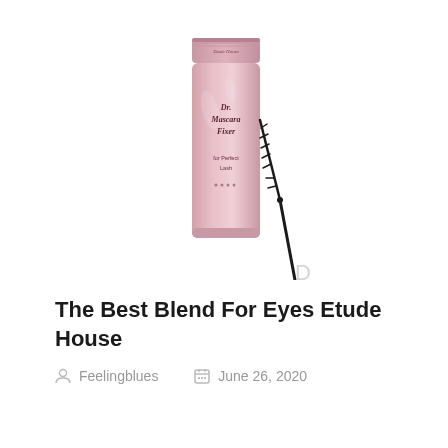[Figure (photo): Product photo of Etude House Dr. Mascara Fixer tube (pink/rose gold shimmer tube with cap) alongside a mascara wand brush, on white background. Partially cropped at bottom.]
The Best Blend For Eyes Etude House
Feelingblues   June 26, 2020